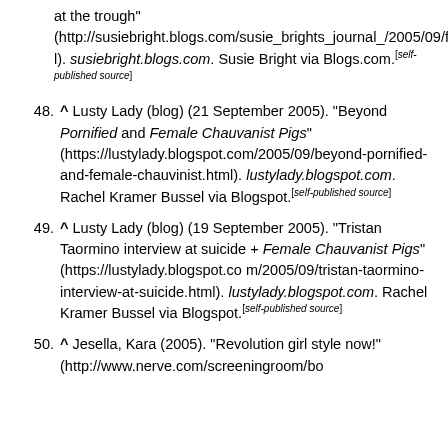at the trough" (http://susiebright.blogs.com/susie_brights_journal_/2005/09/female_chauvini.html). susiebright.blogs.com. Susie Bright via Blogs.com.[self-published source]
48. ^ Lusty Lady (blog) (21 September 2005). "Beyond Pornified and Female Chauvanist Pigs" (https://lustylady.blogspot.com/2005/09/beyond-pornified-and-female-chauvinist.html). lustylady.blogspot.com. Rachel Kramer Bussel via Blogspot.[self-published source]
49. ^ Lusty Lady (blog) (19 September 2005). "Tristan Taormino interview at suicide + Female Chauvanist Pigs" (https://lustylady.blogspot.com/2005/09/tristan-taormino-interview-at-suicide.html). lustylady.blogspot.com. Rachel Kramer Bussel via Blogspot.[self-published source]
50. ^ Jesella, Kara (2005). "Revolution girl style now!" (http://www.nerve.com/screeningroom/bo